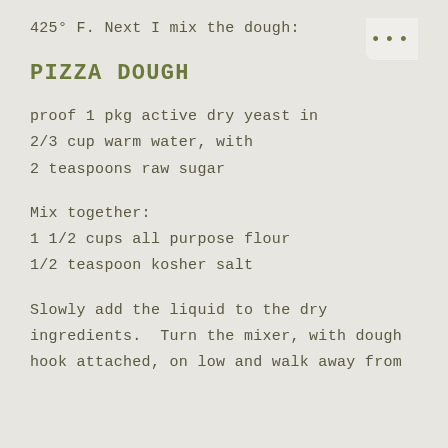425° F.  Next I mix the dough:
PIZZA DOUGH
proof 1 pkg active dry yeast in
2/3 cup warm water, with
2 teaspoons raw sugar
Mix together:
1 1/2 cups all purpose flour
1/2 teaspoon kosher salt
Slowly add the liquid to the dry ingredients.  Turn the mixer, with dough hook attached, on low and walk away from